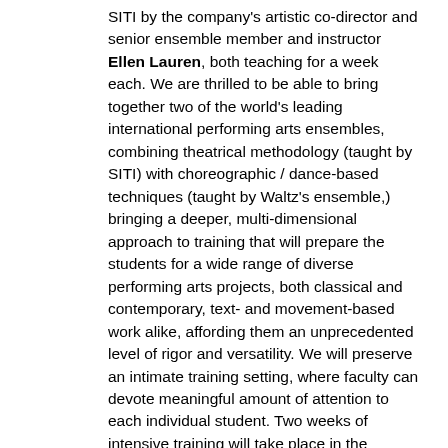SITI by the company's artistic co-director and senior ensemble member and instructor Ellen Lauren, both teaching for a week each. We are thrilled to be able to bring together two of the world's leading international performing arts ensembles, combining theatrical methodology (taught by SITI) with choreographic / dance-based techniques (taught by Waltz's ensemble,) bringing a deeper, multi-dimensional approach to training that will prepare the students for a wide range of diverse performing arts projects, both classical and contemporary, text- and movement-based work alike, affording them an unprecedented level of rigor and versatility. We will preserve an intimate training setting, where faculty can devote meaningful amount of attention to each individual student. Two weeks of intensive training will take place in the historic building of the Croatian National Theater in Split, on the sunny Croatian coast. Visit the following pages to find out about 2023